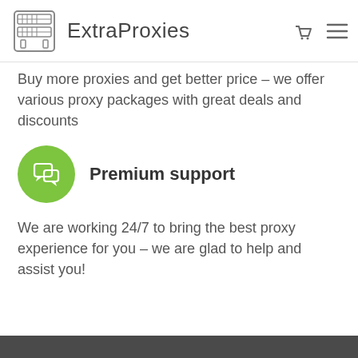ExtraProxies
Buy more proxies and get better price – we offer various proxy packages with great deals and discounts
Premium support
We are working 24/7 to bring the best proxy experience for you – we are glad to help and assist you!